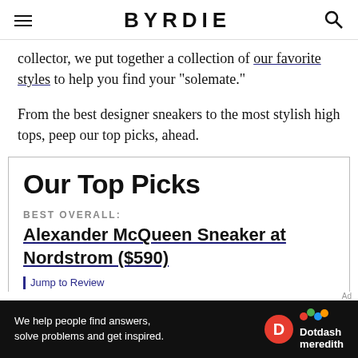BYRDIE
collector, we put together a collection of our favorite styles to help you find your "solemate."
From the best designer sneakers to the most stylish high tops, peep our top picks, ahead.
Our Top Picks
BEST OVERALL:
Alexander McQueen Sneaker at Nordstrom ($590)
Jump to Review